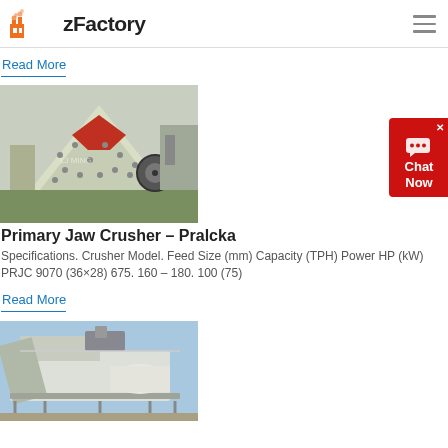zFactory
Read More
[Figure (photo): Industrial jaw crusher machine in factory setting, cream/green colored with red components, watermarked LJ MING]
Primary Jaw Crusher – Pralcka
Specifications. Crusher Model. Feed Size (mm) Capacity (TPH) Power HP (kW) PRJC 9070 (36×28) 675. 160 – 180. 100 (75)
Read More
[Figure (photo): Industrial mining/crushing equipment, white/grey machinery on scaffolding structure against blue sky background]